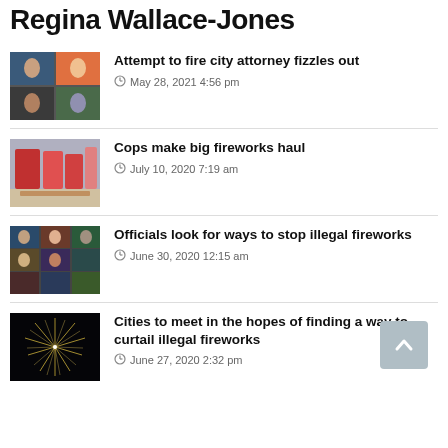Regina Wallace-Jones
[Figure (photo): Video call screenshot with multiple participants in grid view]
Attempt to fire city attorney fizzles out
May 28, 2021 4:56 pm
[Figure (photo): Fireworks merchandise on a table]
Cops make big fireworks haul
July 10, 2020 7:19 am
[Figure (photo): Video call screenshot with multiple participants in grid view]
Officials look for ways to stop illegal fireworks
June 30, 2020 12:15 am
[Figure (photo): Fireworks burst against dark sky]
Cities to meet in the hopes of finding a way to curtail illegal fireworks
June 27, 2020 2:32 pm